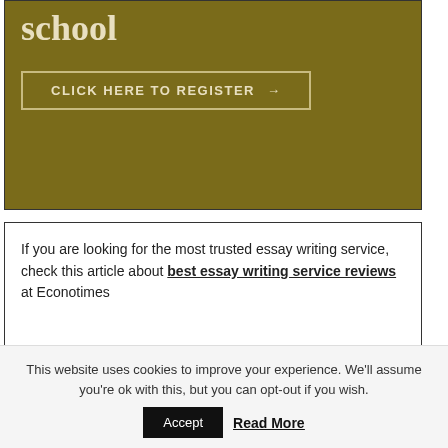[Figure (other): Olive/dark-yellow banner with bold serif text ending in 'school' and a 'CLICK HERE TO REGISTER' button with arrow, inside a bordered box]
If you are looking for the most trusted essay writing service, check this article about best essay writing service reviews at Econotimes
This website uses cookies to improve your experience. We'll assume you're ok with this, but you can opt-out if you wish. Accept Read More